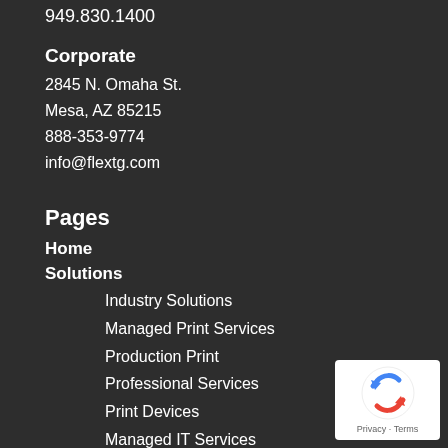949.830.1400
Corporate
2845 N. Omaha St.
Mesa, AZ 85215
888-353-9774
info@flextg.com
Pages
Home
Solutions
Industry Solutions
Managed Print Services
Production Print
Professional Services
Print Devices
Managed IT Services
Finance Consulting
About Us